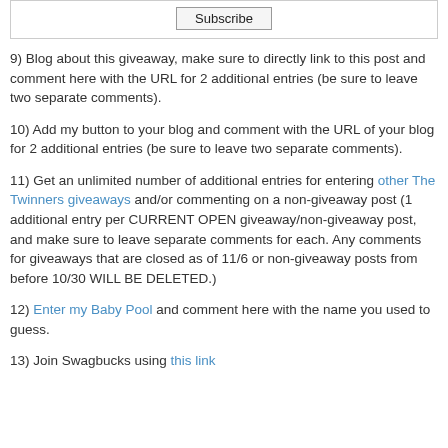[Figure (other): Subscribe button inside a bordered box]
9) Blog about this giveaway, make sure to directly link to this post and comment here with the URL for 2 additional entries (be sure to leave two separate comments).
10) Add my button to your blog and comment with the URL of your blog for 2 additional entries (be sure to leave two separate comments).
11) Get an unlimited number of additional entries for entering other The Twinners giveaways and/or commenting on a non-giveaway post (1 additional entry per CURRENT OPEN giveaway/non-giveaway post, and make sure to leave separate comments for each. Any comments for giveaways that are closed as of 11/6 or non-giveaway posts from before 10/30 WILL BE DELETED.)
12) Enter my Baby Pool and comment here with the name you used to guess.
13) Join Swagbucks using this link